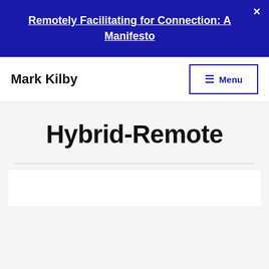Remotely Facilitating for Connection: A Manifesto
Mark Kilby
Hybrid-Remote